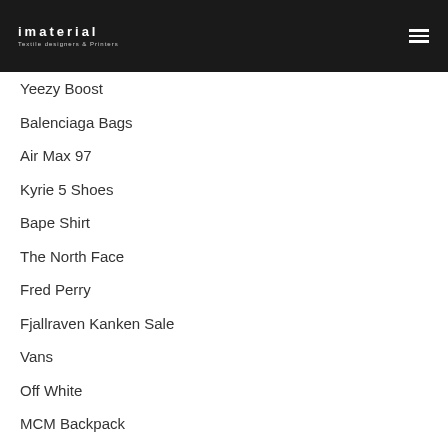imaterial
Textile designers & Printers
Yeezy Boost
Balenciaga Bags
Air Max 97
Kyrie 5 Shoes
Bape Shirt
The North Face
Fred Perry
Fjallraven Kanken Sale
Vans
Off White
MCM Backpack
Hydro Flask
Valentino Shoes
Louboutin Heels
Salomon Speedcross 5
Vans